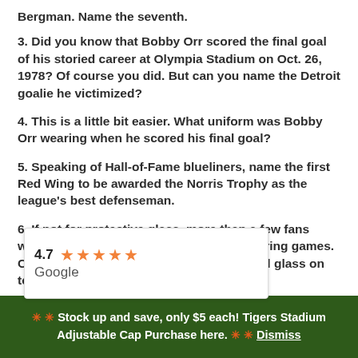Bergman. Name the seventh.
3. Did you know that Bobby Orr scored the final goal of his storied career at Olympia Stadium on Oct. 26, 1978? Of course you did. But can you name the Detroit goalie he victimized?
4. This is a little bit easier. What uniform was Bobby Orr wearing when he scored his final goal?
5. Speaking of Hall-of-Fame blueliners, name the first Red Wing to be awarded the Norris Trophy as the league’s best defenseman.
6. If not for protective glass, more than a few fans would be eating pucks instead of pizza during games. Can you name the first NHL arena to install glass on top of the boards?
[Figure (infographic): Google review widget showing rating 4.7 with 5 orange stars and Google branding]
7. The singing of the national anthem has been a tradition for many years. What season did the NHL make the pre-game
* * Stock up and save, only $5 each! Tigers Stadium Adjustable Cap Purchase here. * * Dismiss